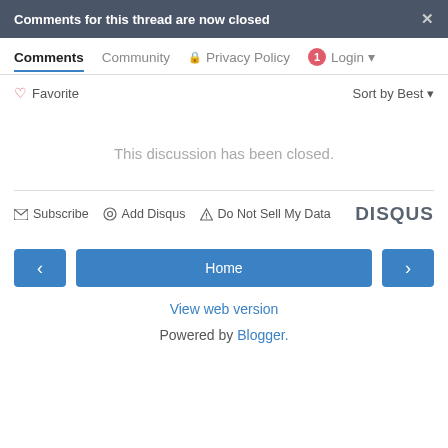Comments for this thread are now closed ×
Comments  Community  🔒 Privacy Policy  1 Login ▾
♡ Favorite   Sort by Best ▾
This discussion has been closed.
✉ Subscribe  ◎ Add Disqus  ⚠ Do Not Sell My Data  DISQUS
< Home >
View web version
Powered by Blogger.